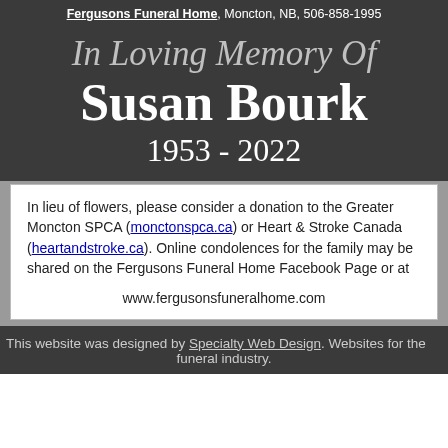Fergusons Funeral Home, Moncton, NB, 506-858-1995
In Loving Memory Of
Susan Bourk
1953 - 2022
In lieu of flowers, please consider a donation to the Greater Moncton SPCA (monctonspca.ca) or Heart & Stroke Canada (heartandstroke.ca). Online condolences for the family may be shared on the Fergusons Funeral Home Facebook Page or at

www.fergusonsfuneralhome.com
This website was designed by Specialty Web Design. Websites for the funeral industry.